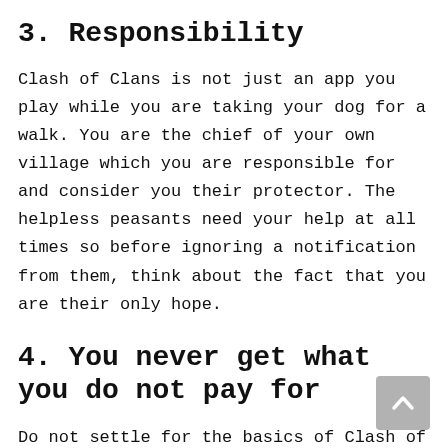3. Responsibility
Clash of Clans is not just an app you play while you are taking your dog for a walk. You are the chief of your own village which you are responsible for and consider you their protector. The helpless peasants need your help at all times so before ignoring a notification from them, think about the fact that you are their only hope.
4. You never get what you do not pay for
Do not settle for the basics of Clash of Clans. Save as many resources as possible, so you only get the quality stuff. think that one level of upgrade will not make a big diff let us tell you that you are wrong. Think about a person who